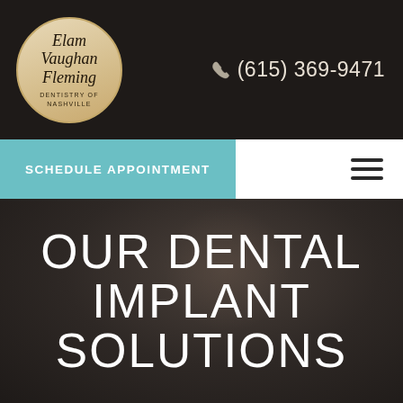Elam Vaughan Fleming Dentistry of Nashville
(615) 369-9471
SCHEDULE APPOINTMENT
OUR DENTAL IMPLANT SOLUTIONS